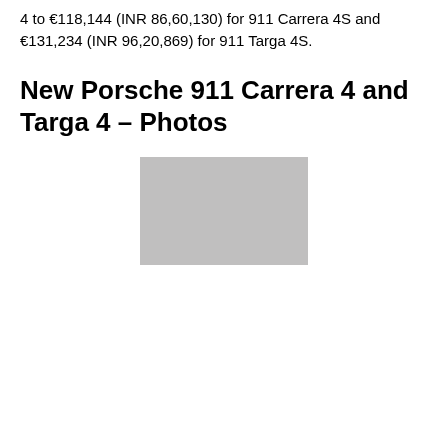4 to €118,144 (INR 86,60,130) for 911 Carrera 4S and €131,234 (INR 96,20,869) for 911 Targa 4S.
New Porsche 911 Carrera 4 and Targa 4 – Photos
[Figure (photo): Grey placeholder image representing a photo of New Porsche 911 Carrera 4 and Targa 4]